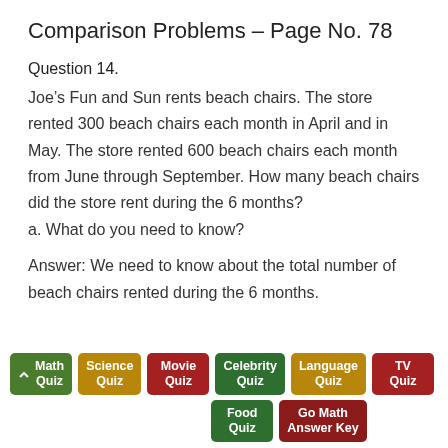Comparison Problems – Page No. 78
Question 14.
Joe's Fun and Sun rents beach chairs. The store rented 300 beach chairs each month in April and in May. The store rented 600 beach chairs each month from June through September. How many beach chairs did the store rent during the 6 months? a. What do you need to know?
Answer: We need to know about the total number of beach chairs rented during the 6 months.
Math Quiz | Science Quiz | Movie Quiz | Celebrity Quiz | Language Quiz | TV Quiz | Food Quiz | Go Math Answer Key